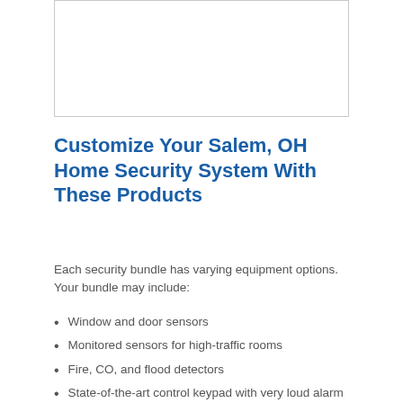[Figure (other): Empty white image box with light gray border]
Customize Your Salem, OH Home Security System With These Products
Each security bundle has varying equipment options. Your bundle may include:
Window and door sensors
Monitored sensors for high-traffic rooms
Fire, CO, and flood detectors
State-of-the-art control keypad with very loud alarm